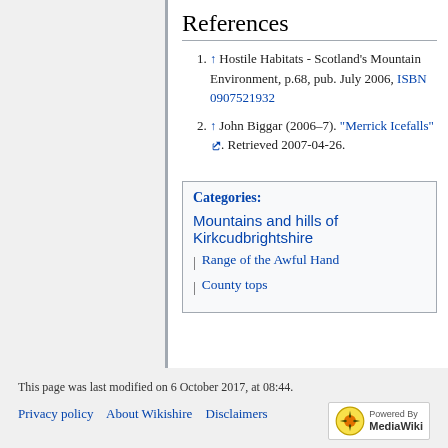References
↑ Hostile Habitats - Scotland's Mountain Environment, p.68, pub. July 2006, ISBN 0907521932
↑ John Biggar (2006–7). "Merrick Icefalls". Retrieved 2007-04-26.
Categories: Mountains and hills of Kirkcudbrightshire | Range of the Awful Hand | County tops
This page was last modified on 6 October 2017, at 08:44. Privacy policy  About Wikishire  Disclaimers